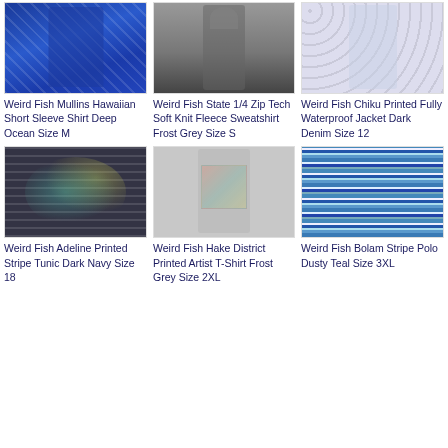[Figure (photo): Weird Fish Mullins Hawaiian Short Sleeve Shirt in blue floral pattern]
Weird Fish Mullins Hawaiian Short Sleeve Shirt Deep Ocean Size M
[Figure (photo): Weird Fish State 1/4 Zip Tech Soft Knit Fleece Sweatshirt in frost grey, model wearing it]
Weird Fish State 1/4 Zip Tech Soft Knit Fleece Sweatshirt Frost Grey Size S
[Figure (photo): Weird Fish Chiku Printed Fully Waterproof Jacket in dark denim floral print]
Weird Fish Chiku Printed Fully Waterproof Jacket Dark Denim Size 12
[Figure (photo): Weird Fish Adeline Printed Stripe Tunic dress in dark navy with floral print]
Weird Fish Adeline Printed Stripe Tunic Dark Navy Size 18
[Figure (photo): Weird Fish Hake District Printed Artist T-Shirt in frost grey with graphic print on back]
Weird Fish Hake District Printed Artist T-Shirt Frost Grey Size 2XL
[Figure (photo): Weird Fish Bolam Stripe Polo shirt in dusty teal with horizontal stripes]
Weird Fish Bolam Stripe Polo Dusty Teal Size 3XL